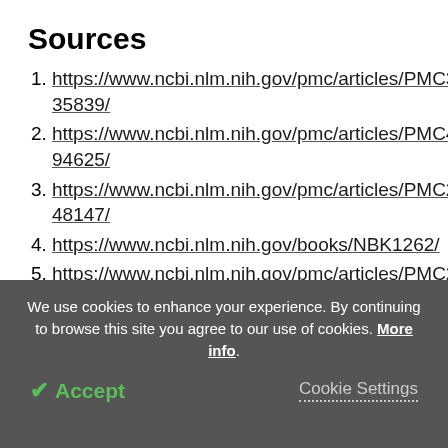Sources
https://www.ncbi.nlm.nih.gov/pmc/articles/PMC3235839/
https://www.ncbi.nlm.nih.gov/pmc/articles/PMC4394625/
https://www.ncbi.nlm.nih.gov/pmc/articles/PMC2748147/
https://www.ncbi.nlm.nih.gov/books/NBK1262/
https://www.ncbi.nlm.nih.gov/pmc/articles/PMC2796972/
We use cookies to enhance your experience. By continuing to browse this site you agree to our use of cookies. More info.